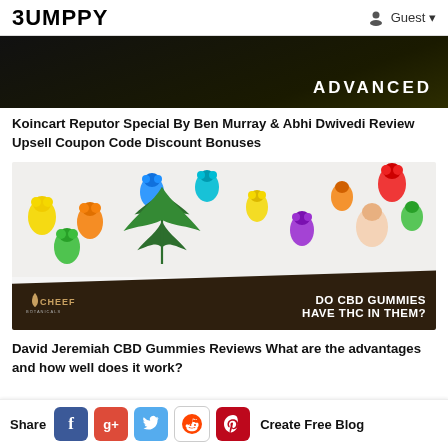BUMPPY  Guest
[Figure (photo): Partial product image with dark background and 'ADVANCED' text in white]
Koincart Reputor Special By Ben Murray & Abhi Dwivedi Review Upsell Coupon Code Discount Bonuses
[Figure (photo): Image of colorful gummy bears on white background with cannabis leaf and dark diagonal banner reading 'DO CBD GUMMIES HAVE THC IN THEM?' with Cheef Botanicals logo]
David Jeremiah CBD Gummies Reviews What are the advantages and how well does it work?
Share  [Facebook] [Google+] [Twitter] [Reddit] [Pinterest]  Create Free Blog